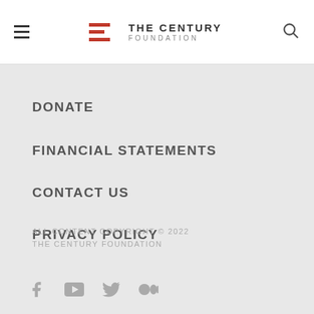THE CENTURY FOUNDATION
DONATE
FINANCIAL STATEMENTS
CONTACT US
PRIVACY POLICY
ALL CONTENT COPYRIGHT © 2022 THE CENTURY FOUNDATION
[Figure (illustration): Social media icons: Facebook, YouTube, Twitter, Medium]